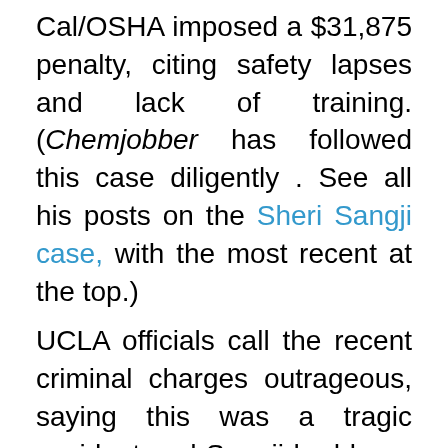Cal/OSHA imposed a $31,875 penalty, citing safety lapses and lack of training. (Chemjobber has followed this case diligently . See all his posts on the Sheri Sangji case, with the most recent at the top.)
UCLA officials call the recent criminal charges outrageous, saying this was a tragic accident and Sangji had been trained to do the dangerous work she was doing. But a 95-page Cal-OSHA investigative report contradicts that defense, saying Sangji was neither experienced nor well trained, terming the risk "foreseeable" and stating that